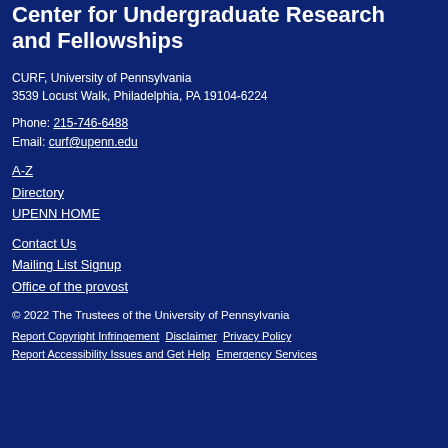Center for Undergraduate Research and Fellowships
CURF, University of Pennsylvania
3539 Locust Walk, Philadelphia, PA 19104-6224
Phone: 215-746-6488
Email: curf@upenn.edu
A-Z
Directory
UPENN HOME
Contact Us
Mailing List Signup
Office of the provost
© 2022 The Trustees of the University of Pennsylvania
Report Copyright Infringement   Disclaimer   Privacy Policy
Report Accessibility Issues and Get Help   Emergency Services